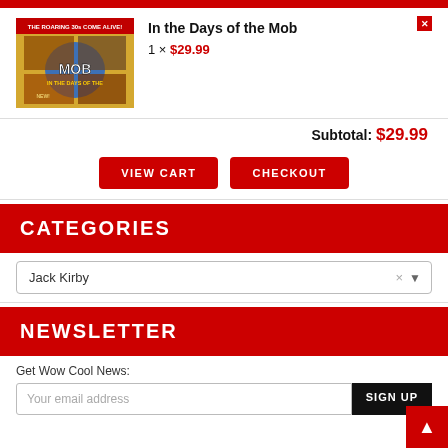In the Days of the Mob
1 × $29.99
Subtotal: $29.99
VIEW CART
CHECKOUT
CATEGORIES
Jack Kirby
NEWSLETTER
Get Wow Cool News:
Your email address
SIGN UP